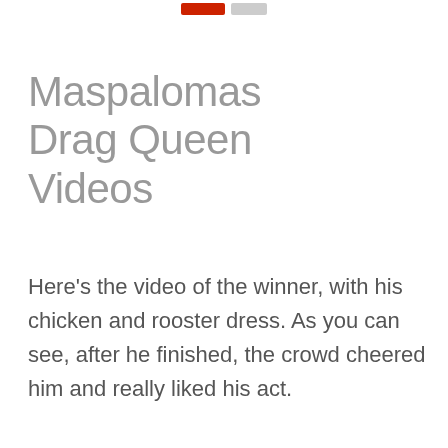Maspalomas Drag Queen Videos
Here's the video of the winner, with his chicken and rooster dress. As you can see, after he finished, the crowd cheered him and really liked his act.